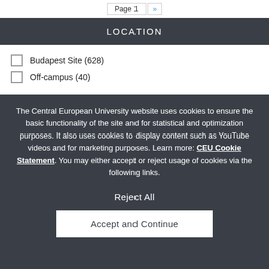Page 1 »
LOCATION
Budapest Site (628)
Off-campus (40)
The Central European University website uses cookies to ensure the basic functionality of the site and for statistical and optimization purposes. It also uses cookies to display content such as YouTube videos and for marketing purposes. Learn more: CEU Cookie Statement. You may either accept or reject usage of cookies via the following links.
Reject All
Accept and Continue